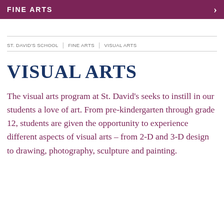FINE ARTS
ST. DAVID'S SCHOOL | FINE ARTS | VISUAL ARTS
VISUAL ARTS
The visual arts program at St. David's seeks to instill in our students a love of art. From pre-kindergarten through grade 12, students are given the opportunity to experience different aspects of visual arts – from 2-D and 3-D design to drawing, photography, sculpture and painting.